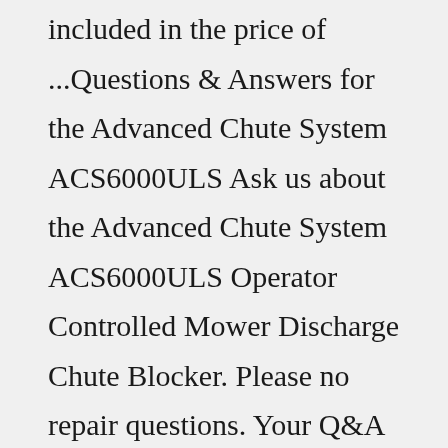included in the price of ...Questions & Answers for the Advanced Chute System ACS6000ULS Ask us about the Advanced Chute System ACS6000ULS Operator Controlled Mower Discharge Chute Blocker. Please no repair questions. Your Q&A may be posted to Jackssmallengines.com to help other shoppers, like you, with their purchasing decisions. Thank you.Works perfectly on my 2011 toro front wheel drive. The rear